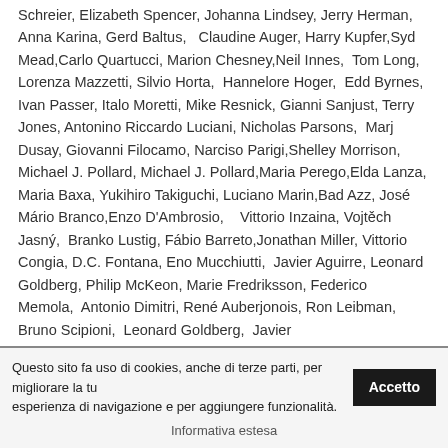Schreier, Elizabeth Spencer, Johanna Lindsey, Jerry Herman,  Anna Karina, Gerd Baltus,   Claudine Auger, Harry Kupfer,Syd Mead,Carlo Quartucci, Marion Chesney,Neil Innes,  Tom Long, Lorenza Mazzetti, Silvio Horta,  Hannelore Hoger,  Edd Byrnes, Ivan Passer, Italo Moretti, Mike Resnick, Gianni Sanjust, Terry Jones, Antonino Riccardo Luciani, Nicholas Parsons,  Marj Dusay, Giovanni Filocamo, Narciso Parigi,Shelley Morrison, Michael J. Pollard, Michael J. Pollard,Maria Perego,Elda Lanza, Maria Baxa, Yukihiro Takiguchi, Luciano Marin,Bad Azz, José Mário Branco,Enzo D'Ambrosio,    Vittorio Inzaina, Vojtěch Jasný,  Branko Lustig, Fábio Barreto,Jonathan Miller, Vittorio Congia, D.C. Fontana, Eno Mucchiutti,  Javier Aguirre, Leonard Goldberg, Philip McKeon, Marie Fredriksson, Federico Memola,  Antonio Dimitri, René Auberjonais, Ron Leibman, Bruno Scipioni,  Leonard Goldberg,  Javier
Questo sito fa uso di cookies, anche di terze parti, per migliorare la tua esperienza di navigazione e per aggiungere funzionalità.
Informativa estesa